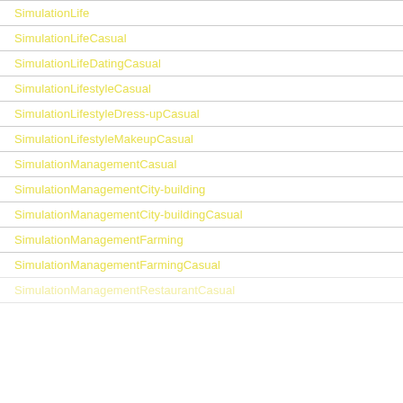SimulationLife
SimulationLifeCasual
SimulationLifeDatingCasual
SimulationLifestyleCasual
SimulationLifestyleDress-upCasual
SimulationLifestyleMakeupCasual
SimulationManagementCasual
SimulationManagementCity-building
SimulationManagementCity-buildingCasual
SimulationManagementFarming
SimulationManagementFarmingCasual
SimulationManagementRestaurantCasual